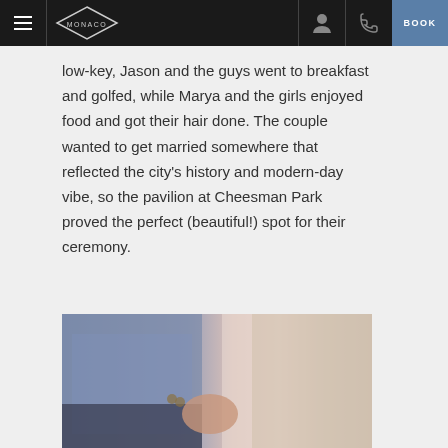MONACO | BOOK
low-key, Jason and the guys went to breakfast and golfed, while Marya and the girls enjoyed food and got their hair done. The couple wanted to get married somewhere that reflected the city's history and modern-day vibe, so the pavilion at Cheesman Park proved the perfect (beautiful!) spot for their ceremony.
[Figure (photo): Close-up photo of a couple holding hands — the groom in a blue/grey plaid blazer on the left and the bride in a light pink dress with lace detail on the right.]